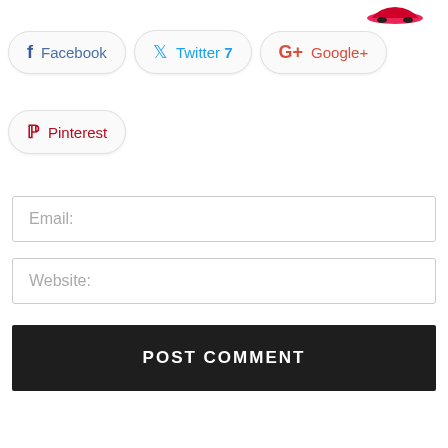[Figure (logo): Red car logo/icon partially visible at top right]
Facebook
Twitter 7
Google+
Pinterest
Email:
Website:
POST COMMENT